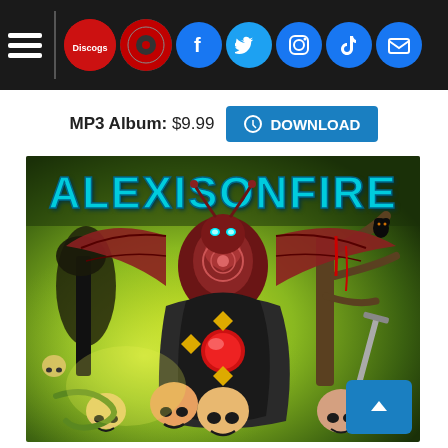Navigation bar with hamburger menu, Discogs icon, Bandcamp icon, Facebook, Twitter, Instagram, TikTok, Email social icons
MP3 Album: $9.99  DOWNLOAD
[Figure (illustration): Alexisonfire album cover art featuring a demonic bat-winged creature with glowing blue eyes perched above a dark robed figure with a red orb, surrounded by skulls, trees, and fantasy/horror imagery on a yellow-green background. The band name ALEXISONFIRE is written in blue dripping horror-style lettering at the top.]